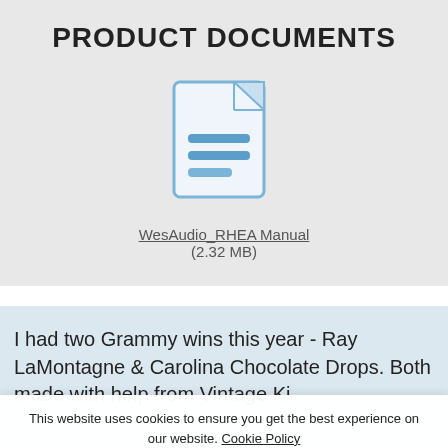PRODUCT DOCUMENTS
[Figure (illustration): Document file icon — a blue-outlined page with folded corner and three blue horizontal lines representing text]
WesAudio_RHEA Manual
(2.32 MB)
I had two Grammy wins this year - Ray LaMontagne & Carolina Chocolate Drops. Both made with help from Vintage Ki...
This website uses cookies to ensure you get the best experience on our website. Cookie Policy
ACCEPT